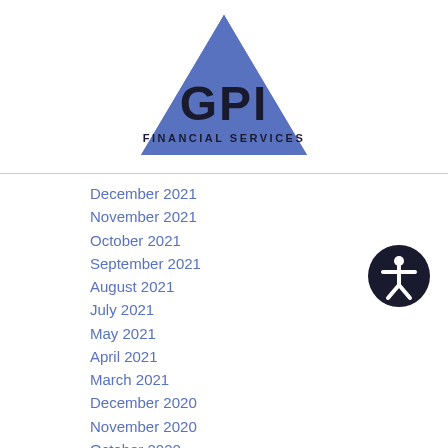[Figure (logo): GPI Financial Services logo: blue triangle with bold black 'GPI' text and 'FINANCIAL SERVICES' text below]
December 2021
November 2021
October 2021
September 2021
August 2021
July 2021
May 2021
April 2021
March 2021
December 2020
November 2020
October 2020
July 2020
April 2020
March 2020
October 2019
September 2019